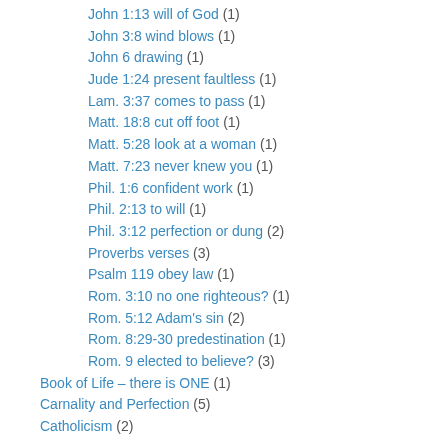John 1:13 will of God (1)
John 3:8 wind blows (1)
John 6 drawing (1)
Jude 1:24 present faultless (1)
Lam. 3:37 comes to pass (1)
Matt. 18:8 cut off foot (1)
Matt. 5:28 look at a woman (1)
Matt. 7:23 never knew you (1)
Phil. 1:6 confident work (1)
Phil. 2:13 to will (1)
Phil. 3:12 perfection or dung (2)
Proverbs verses (3)
Psalm 119 obey law (1)
Rom. 3:10 no one righteous? (1)
Rom. 5:12 Adam's sin (2)
Rom. 8:29-30 predestination (1)
Rom. 9 elected to believe? (3)
Book of Life – there is ONE (1)
Carnality and Perfection (5)
Catholicism (2)